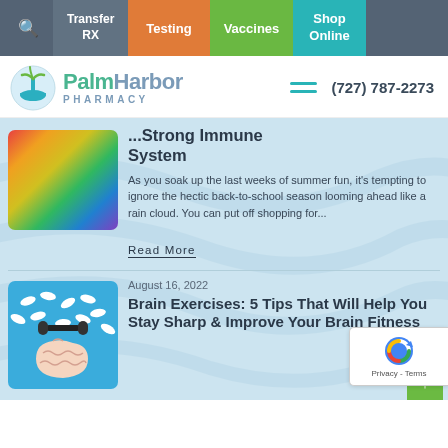Transfer RX | Testing | Vaccines | Shop Online
[Figure (logo): Palm Harbor Pharmacy logo with mortar and pestle icon, green and blue text]
(727) 787-2273
...Strong Immune System
As you soak up the last weeks of summer fun, it's tempting to ignore the hectic back-to-school season looming ahead like a rain cloud. You can put off shopping for...
Read More
August 16, 2022
Brain Exercises: 5 Tips That Will Help You Stay Sharp & Improve Your Brain Fitness